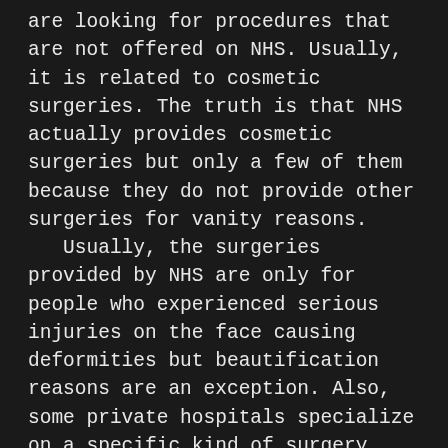are looking for procedures that are not offered on NHS. Usually, it is related to cosmetic surgeries. The truth is that NHS actually provides cosmetic surgeries but only a few of them because they do not provide other surgeries for vanity reasons. Usually, the surgeries provided by NHS are only for people who experienced serious injuries on the face causing deformities but beautification reasons are an exception. Also, some private hospitals specialize on a specific kind of surgery making it a better choice instead of getting to a general public health service. The comfort provided by private hospitals like the Kings Bridge hospital is better when compared to the NHS. If you will closely, more people go to NHS so as time goes by, it become more crowded. Also, the people tend to wait long hours before they can be accommodated by the health care professionals on